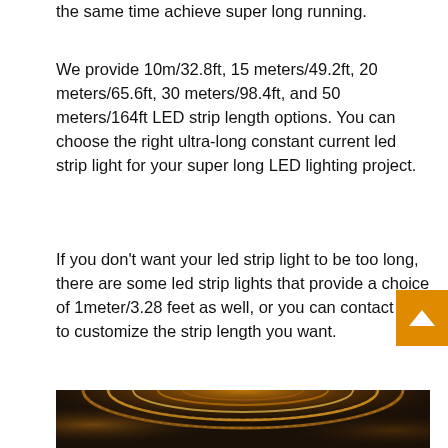the same time achieve super long running.
We provide 10m/32.8ft, 15 meters/49.2ft, 20 meters/65.6ft, 30 meters/98.4ft, and 50 meters/164ft LED strip length options. You can choose the right ultra-long constant current led strip light for your super long LED lighting project.
If you don’t want your led strip light to be too long, there are some led strip lights that provide a choice of 1meter/3.28 feet as well, or you can contact us to customize the strip length you want.
[Figure (photo): Coiled LED strip lights glowing warm white/golden against a dark background, showing multiple concentric rings of dense LED strips.]